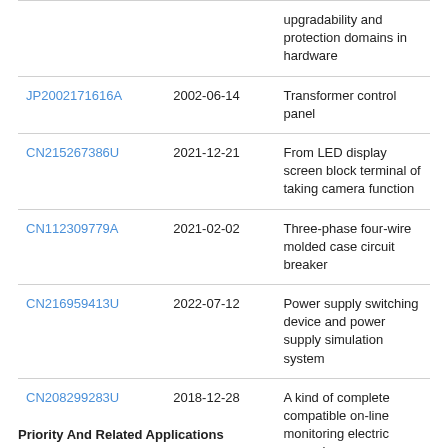| Patent | Date | Title |
| --- | --- | --- |
|  |  | upgradability and protection domains in hardware |
| JP2002171616A | 2002-06-14 | Transformer control panel |
| CN215267386U | 2021-12-21 | From LED display screen block terminal of taking camera function |
| CN112309779A | 2021-02-02 | Three-phase four-wire molded case circuit breaker |
| CN216959413U | 2022-07-12 | Power supply switching device and power supply simulation system |
| CN208299283U | 2018-12-28 | A kind of complete compatible on-line monitoring electric power box |
Priority And Related Applications